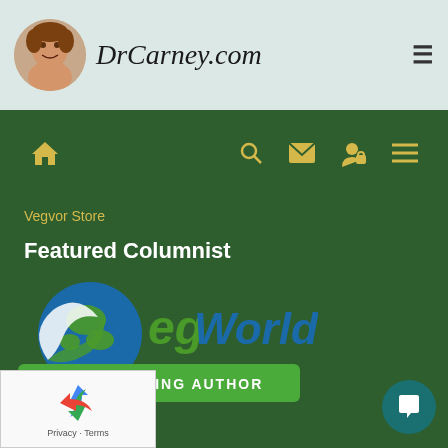DrCarney.com
[Figure (logo): DrCarney.com website header with circular portrait photo and site name in italic script font]
[Figure (infographic): Navigation bar with home icon, search, mail, user/lock, and menu icons on dark green background]
Vegvor Store
Featured Columnist
[Figure (logo): VegWorld magazine logo with globe and green leaf design, and 'CONTRIBUTING AUTHOR' banner below]
[Figure (other): reCAPTCHA widget in bottom-left corner with Privacy and Terms links]
[Figure (other): Dark teal circular chat bubble button in bottom-right corner]